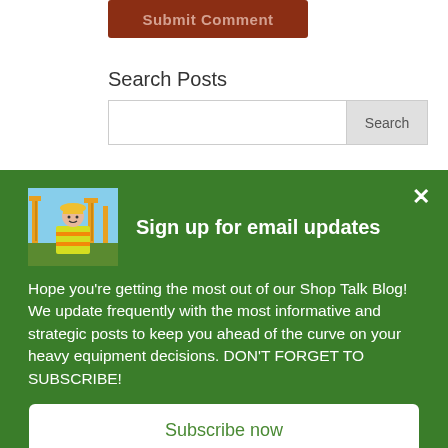Submit Comment
Search Posts
Search
[Figure (photo): Construction worker in yellow hard hat and safety vest in front of heavy equipment/cranes]
Sign up for email updates
Hope you're getting the most out of our Shop Talk Blog! We update frequently with the most informative and strategic posts to keep you ahead of the curve on your heavy equipment decisions. DON'T FORGET TO SUBSCRIBE!
Subscribe now